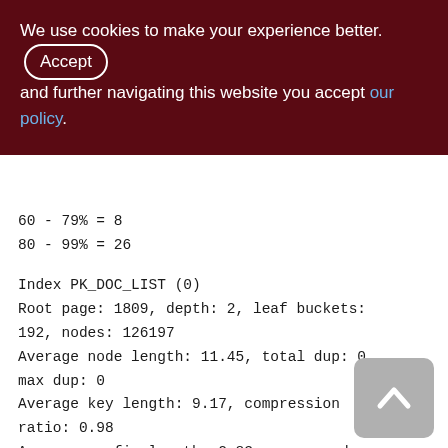We use cookies to make your experience better. By accepting and further navigating this website you accept our policy.
60 - 79% = 8
80 - 99% = 26
Index PK_DOC_LIST (0)
Root page: 1809, depth: 2, leaf buckets: 192, nodes: 126197
Average node length: 11.45, total dup: 0, max dup: 0
Average key length: 9.17, compression ratio: 0.98
Average prefix length: 2.83, average data length: 6.17
Clustering factor: 2138, ratio: 0.02